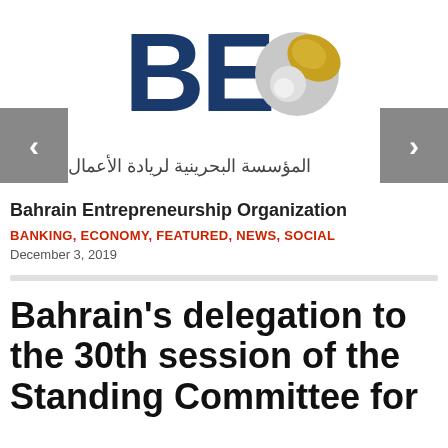[Figure (logo): Bahrain Entrepreneurship Organization logo — 'BE' letters in dark blue with a silver and gold swirl emblem]
المؤسسة البحرينية لريادة الأعمال
Bahrain Entrepreneurship Organization
BANKING, ECONOMY, FEATURED, NEWS, SOCIAL
December 3, 2019
Bahrain's delegation to the 30th session of the Standing Committee for